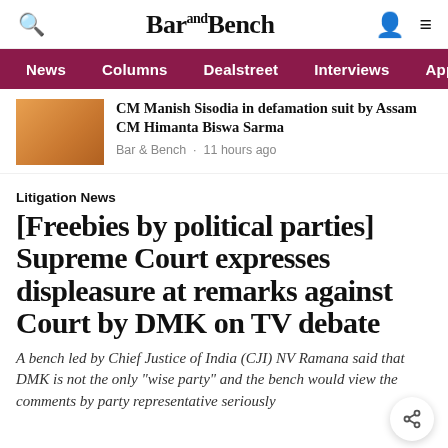Bar and Bench
News  Columns  Dealstreet  Interviews  Apprenti
[Figure (photo): Thumbnail photo of a person in orange clothing]
CM Manish Sisodia in defamation suit by Assam CM Himanta Biswa Sarma
Bar & Bench · 11 hours ago
Litigation News
[Freebies by political parties] Supreme Court expresses displeasure at remarks against Court by DMK on TV debate
A bench led by Chief Justice of India (CJI) NV Ramana said that DMK is not the only "wise party" and the bench would view the comments by party representative seriously